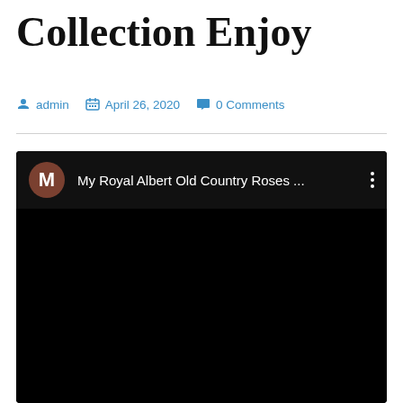Collection Enjoy
admin  April 26, 2020  0 Comments
[Figure (screenshot): Embedded video player with dark/black background. Top bar shows a brown avatar circle with letter 'M', video title 'My Royal Albert Old Country Roses ...', and a three-dot menu icon. The main video area is entirely black.]